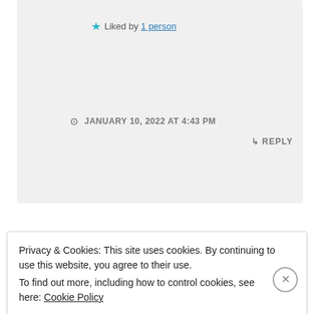★ Liked by 1 person
JANUARY 10, 2022 AT 4:43 PM
↳ REPLY
Auntie Dawn
Happy New Year, Biggles!
Privacy & Cookies: This site uses cookies. By continuing to use this website, you agree to their use.
To find out more, including how to control cookies, see here: Cookie Policy
Close and accept